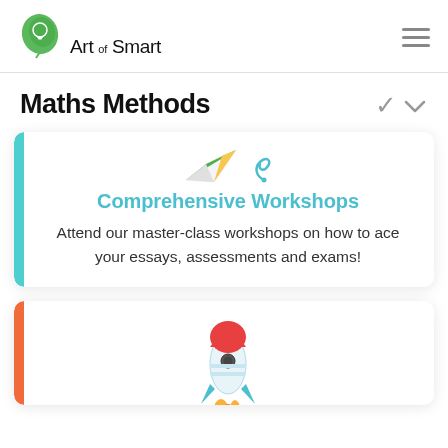[Figure (logo): Art of Smart logo: green leaf with light bulb icon, text 'Art of Smart']
Maths Methods
[Figure (illustration): Paper airplane and swirl illustration for Comprehensive Workshops card]
Comprehensive Workshops
Attend our master-class workshops on how to ace your essays, assessments and exams!
[Figure (illustration): Rocket ship illustration for second card (partially visible)]